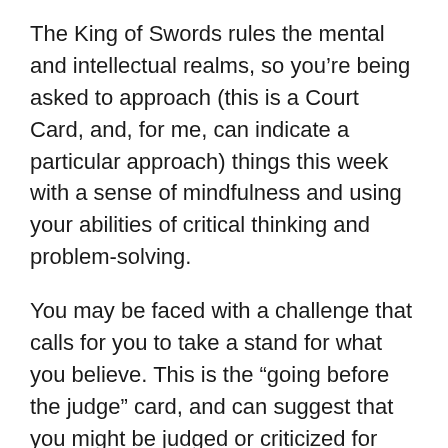The King of Swords rules the mental and intellectual realms, so you’re being asked to approach (this is a Court Card, and, for me, can indicate a particular approach) things this week with a sense of mindfulness and using your abilities of critical thinking and problem-solving.
You may be faced with a challenge that calls for you to take a stand for what you believe. This is the “going before the judge” card, and can suggest that you might be judged or criticized for your beliefs—or that you might be judgmental or critical of others for theirs.
Again, be mindful, for this calls to mind the adage “As you judge, so shall you be judged.”
Keeping with the idea of “going before the judge,” there’s also the possibility that a decision of some sort may be